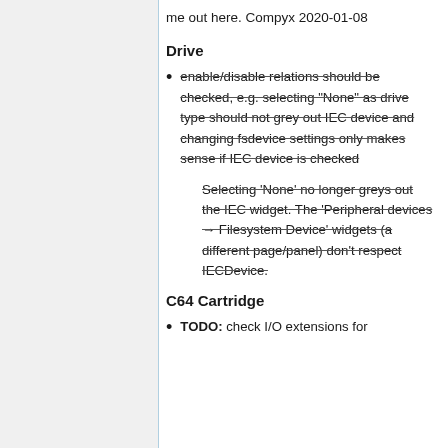me out here. Compyx 2020-01-08
Drive
enable/disable relations should be checked, e.g. selecting "None" as drive type should not grey out IEC device and changing fsdevice settings only makes sense if IEC device is checked
Selecting 'None' no longer greys out the IEC widget. The 'Peripheral devices → Filesystem Device' widgets (a different page/panel) don't respect IECDevice.
C64 Cartridge
TODO: check I/O extensions for